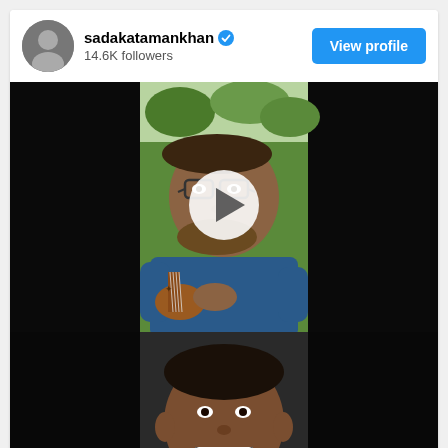sadakatamankhan ✓ 14.6K followers
View profile
[Figure (screenshot): Instagram post showing a man with glasses playing a ukulele outdoors, smiling, with a play button overlay. Below is a second video thumbnail showing another man smiling.]